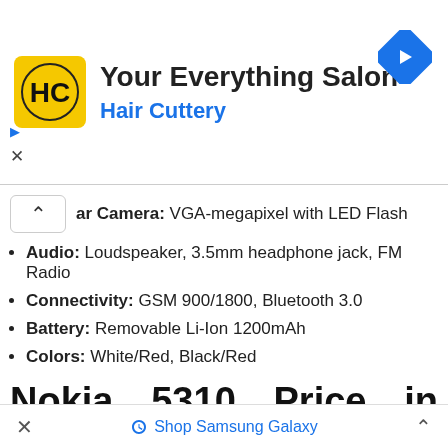[Figure (logo): Hair Cuttery ad banner with HC logo in yellow square, text 'Your Everything Salon' and 'Hair Cuttery' in blue, navigation arrow icon on right]
Rear Camera: VGA-megapixel with LED Flash
Audio: Loudspeaker, 3.5mm headphone jack, FM Radio
Connectivity: GSM 900/1800, Bluetooth 3.0
Battery: Removable Li-Ion 1200mAh
Colors: White/Red, Black/Red
Nokia 5310 Price in Nepal and Availability
The budget-friendly Nokia 5310 price in Nepal is NPR 5,449 and comes in attractive colors. Also, it is
× ♦ Shop Samsung Galaxy ^